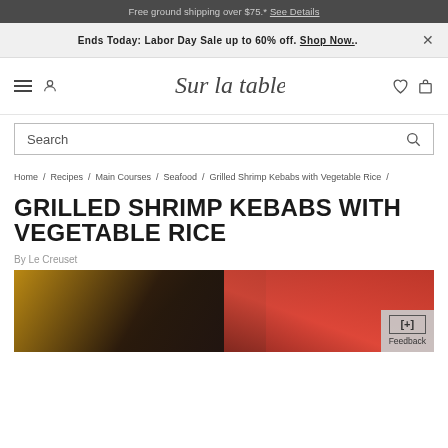Free ground shipping over $75.* See Details
Ends Today: Labor Day Sale up to 60% off. Shop Now..
[Figure (logo): Sur la table script logo]
Search
Home / Recipes / Main Courses / Seafood / Grilled Shrimp Kebabs with Vegetable Rice /
GRILLED SHRIMP KEBABS WITH VEGETABLE RICE
By Le Creuset
[Figure (photo): Close-up food photo of grilled shrimp kebabs with a dark cast iron pan visible, reddish and warm tones]